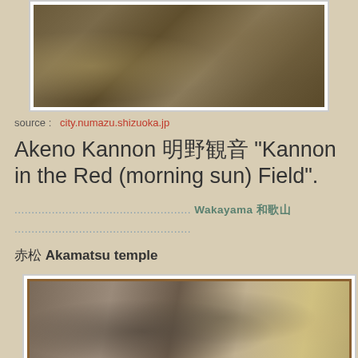[Figure (photo): Outdoor garden/temple path with trees and stones, aerial/landscape view]
source :   city.numazu.shizuoka.jp
Akeno Kannon 明野観音 "Kannon in the Red (morning sun) Field".
.................................................... Wakayama 和歌山県
....................................................
赤松 Akamatsu temple
[Figure (photo): Close-up of a bronze animal sculpture (possibly a dragon or ox) with a painted screen in the background]